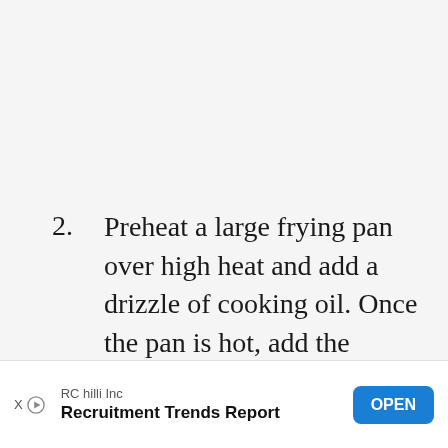2. Preheat a large frying pan over high heat and add a drizzle of cooking oil. Once the pan is hot, add the ground beef and ground pork. Brown the meat all over for 7 to 10 minutes, until nicely browned all over. As the meat is cooking, use a spatula to break it apart into small pieces. Watch my video recipe to see how it's
[Figure (other): Advertisement banner: RC hilli Inc - Recruitment Trends Report with OPEN button]